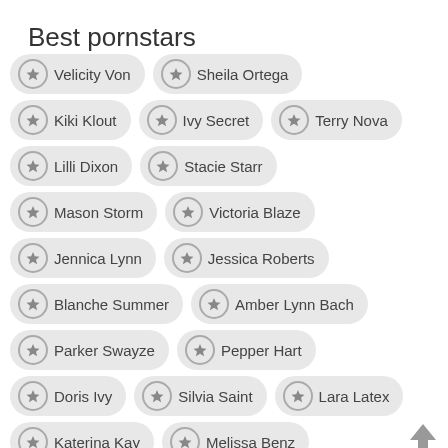Best pornstars
Velicity Von
Sheila Ortega
Kiki Klout
Ivy Secret
Terry Nova
Lilli Dixon
Stacie Starr
Mason Storm
Victoria Blaze
Jennica Lynn
Jessica Roberts
Blanche Summer
Amber Lynn Bach
Parker Swayze
Pepper Hart
Doris Ivy
Silvia Saint
Lara Latex
Katerina Kay
Melissa Benz
Amber Cox
Holly West
Presley Hart
Tigerr Benson